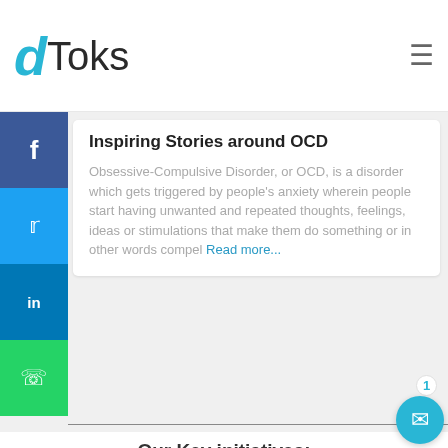dToks
Inspiring Stories around OCD
Obsessive-Compulsive Disorder, or OCD, is a disorder which gets triggered by people's anxiety wherein people start having unwanted and repeated thoughts, feelings, ideas or stimulations that make them do something or in other words compel Read more...
Our Key initiatives:
Events
Ambassador Program
dNotes (Blog Feed)